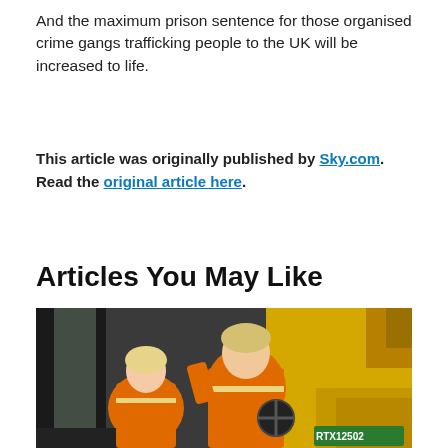And the maximum prison sentence for those organised crime gangs trafficking people to the UK will be increased to life.
This article was originally published by Sky.com. Read the original article here.
Articles You May Like
[Figure (photo): Two people wearing orange high-visibility vests inside or beside a yellow construction vehicle (excavator/digger). A man with blond hair (Boris Johnson) is seated in the cab, and a blonde woman stands beside or in front of him. A green sticker reading 'RTX12502' is visible on the yellow machinery.]